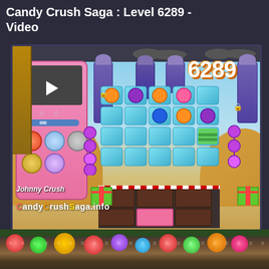Candy Crush Saga : Level 6289 - Video
[Figure (screenshot): Screenshot of Candy Crush Saga Level 6289 gameplay video thumbnail showing the game board with cyan tiles, candy pieces, level number 6289 displayed prominently, a pink game panel on the left with move counter showing 24, stars, and score bar, plus various candy obstacles and boosters. The watermark 'CandyCrushSaga.info' and channel name 'Johnny Crush' appear at the bottom of the video frame.]
[Figure (photo): Background photo of colorful candy pieces including round candies, candy canes, and various candy types in green, red, pink, orange, yellow colors arranged in a pile]